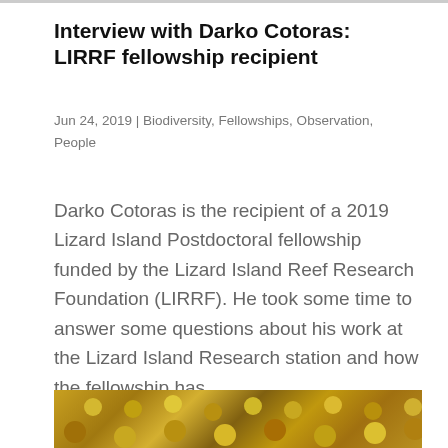Interview with Darko Cotoras: LIRRF fellowship recipient
Jun 24, 2019 | Biodiversity, Fellowships, Observation, People
Darko Cotoras is the recipient of a 2019 Lizard Island Postdoctoral fellowship funded by the Lizard Island Reef Research Foundation (LIRRF). He took some time to answer some questions about his work at the Lizard Island Research station and how the fellowship has...
[Figure (photo): Close-up photograph of coral or marine organism with golden-brown textured surface]